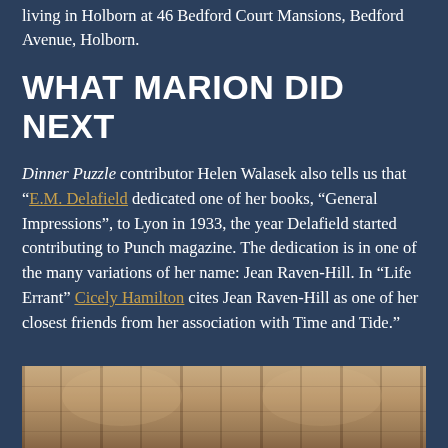living in Holborn at 46 Bedford Court Mansions, Bedford Avenue, Holborn.
WHAT MARION DID NEXT
Dinner Puzzle contributor Helen Walasek also tells us that “E.M. Delafield dedicated one of her books, “General Impressions”, to Lyon in 1933, the year Delafield started contributing to Punch magazine. The dedication is in one of the many variations of her name: Jean Raven-Hill. In “Life Errant” Cicely Hamilton cites Jean Raven-Hill as one of her closest friends from her association with Time and Tide.”
[Figure (photo): Sepia-toned photograph showing what appears to be a building interior with large windows, columns or pillars visible in soft focus.]